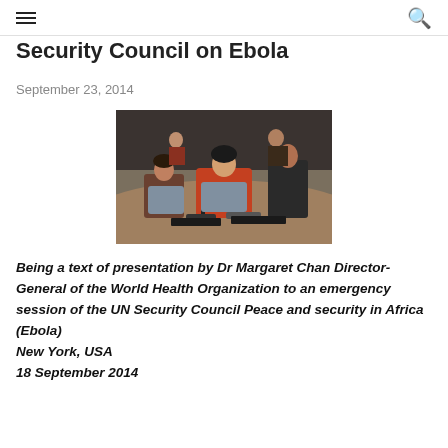≡  🔍
Security Council on Ebola
September 23, 2014
[Figure (photo): Dr Margaret Chan seated at a curved conference table at the UN Security Council chamber, with other delegates visible in the background.]
Being a text of presentation by Dr Margaret Chan Director-General of the World Health Organization to an emergency session of the UN Security Council Peace and security in Africa (Ebola)
New York, USA
18 September 2014